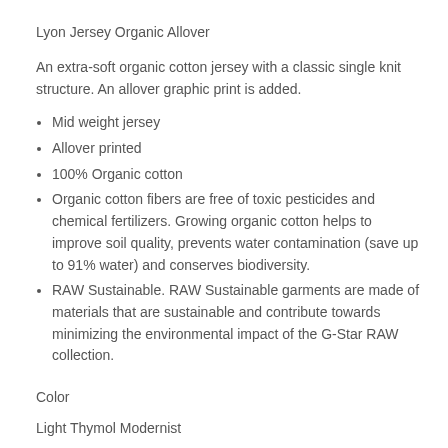Lyon Jersey Organic Allover
An extra-soft organic cotton jersey with a classic single knit structure. An allover graphic print is added.
Mid weight jersey
Allover printed
100% Organic cotton
Organic cotton fibers are free of toxic pesticides and chemical fertilizers. Growing organic cotton helps to improve soil quality, prevents water contamination (save up to 91% water) and conserves biodiversity.
RAW Sustainable. RAW Sustainable garments are made of materials that are sustainable and contribute towards minimizing the environmental impact of the G-Star RAW collection.
Color
Light Thymol Modernist